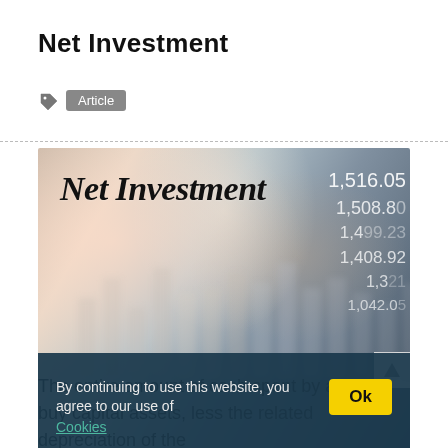Net Investment
Article
[Figure (photo): Blurred stock market / financial chart background image with the title 'Net Investment' overlaid in bold italic serif font, and stock price numbers (1,516.05, 1,508.80, 1,408.92, 1,042.05) visible on the right side. A cookie consent bar at the bottom reads: 'By continuing to use this website, you agree to our use of Cookies' with an 'Ok' button.]
The entire amount of cash spent by a firm to buy capital assets, less the related depreciation of the